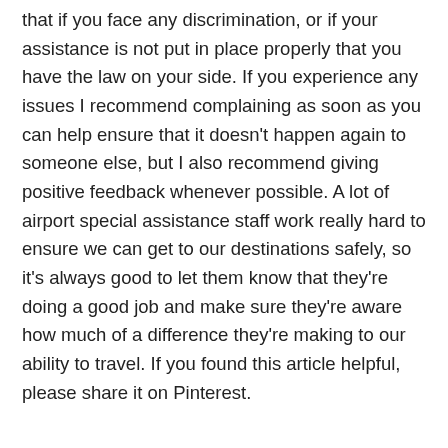that if you face any discrimination, or if your assistance is not put in place properly that you have the law on your side. If you experience any issues I recommend complaining as soon as you can help ensure that it doesn't happen again to someone else, but I also recommend giving positive feedback whenever possible. A lot of airport special assistance staff work really hard to ensure we can get to our destinations safely, so it's always good to let them know that they're doing a good job and make sure they're aware how much of a difference they're making to our ability to travel. If you found this article helpful, please share it on Pinterest.
[Figure (other): Advertisement box showing store services: In-store shopping (checkmark), In-store pickup (X), Delivery (checkmark), with a logo and navigation arrow icon.]